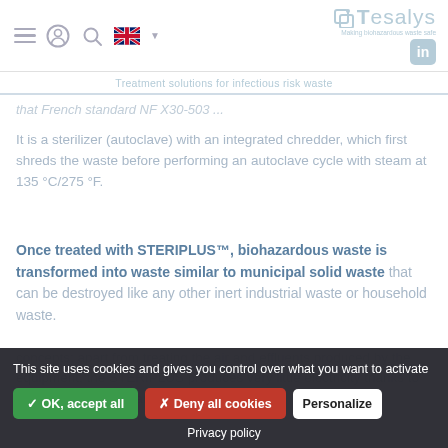Tesalys — Treatment solutions for infectious risk waste
that French standard NF X30-503 ...
It is a sterilizer (autoclave) with an integrated chredder, which first shreds the waste before performing an autoclave cycle with steam at 135 °C/275 °F.
Once treated with STERIPLUS™, biohazardous waste is transformed into waste similar to municipal solid waste that can be destroyed like any other inert industrial waste or household waste.
concepts: apart from treating the air and effluents produced by the equipment, the STERIPLUS produces very little electricity thanks to heat-recovery mechanisms.
This site uses cookies and gives you control over what you want to activate
✓ OK, accept all
✗ Deny all cookies
Personalize
Privacy policy